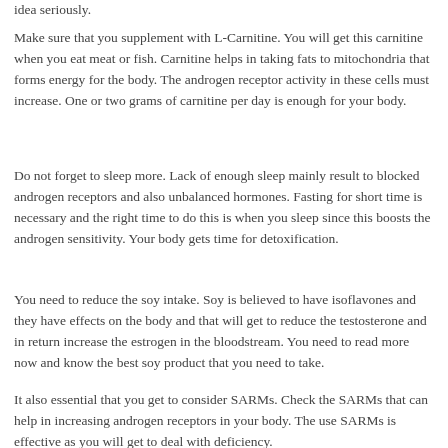idea seriously.
Make sure that you supplement with L-Carnitine. You will get this carnitine when you eat meat or fish. Carnitine helps in taking fats to mitochondria that forms energy for the body. The androgen receptor activity in these cells must increase. One or two grams of carnitine per day is enough for your body.
Do not forget to sleep more. Lack of enough sleep mainly result to blocked androgen receptors and also unbalanced hormones. Fasting for short time is necessary and the right time to do this is when you sleep since this boosts the androgen sensitivity. Your body gets time for detoxification.
You need to reduce the soy intake. Soy is believed to have isoflavones and they have effects on the body and that will get to reduce the testosterone and in return increase the estrogen in the bloodstream. You need to read more now and know the best soy product that you need to take.
It also essential that you get to consider SARMs. Check the SARMs that can help in increasing androgen receptors in your body. The use SARMs is effective as you will get to deal with deficiency.